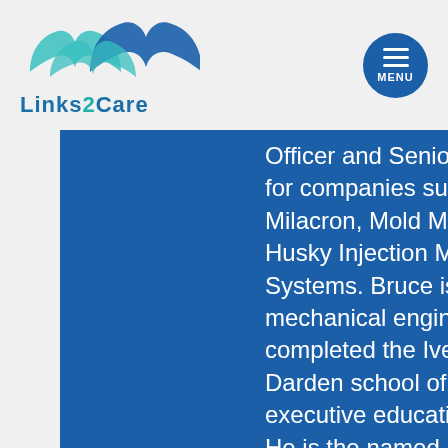[Figure (logo): Links2Care logo with two stylized hand/wave shapes in teal and dark blue, with text 'Links2Care' below]
Officer and Senior Executive for companies such as Milacron, Mold Masters and Husky Injection Molding Systems. Bruce is a mechanical engineer who has completed the Ivey and Darden school of business executive education programs. He is the named inventor of more than 50 patents and is the author of the